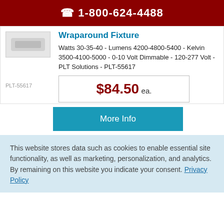📞 1-800-624-4488
Wraparound Fixture
PLT-55617
Watts 30-35-40 - Lumens 4200-4800-5400 - Kelvin 3500-4100-5000 - 0-10 Volt Dimmable - 120-277 Volt - PLT Solutions - PLT-55617
$84.50 ea.
More Info
This website stores data such as cookies to enable essential site functionality, as well as marketing, personalization, and analytics. By remaining on this website you indicate your consent. Privacy Policy